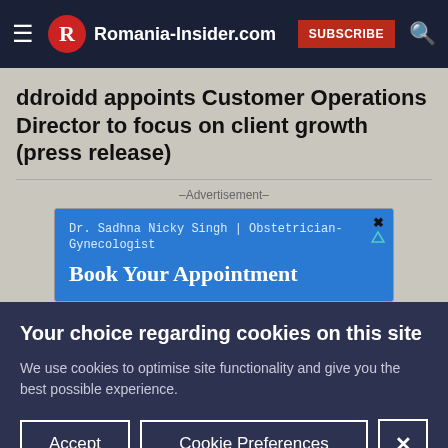Romania-Insider.com
ddroidd appoints Customer Operations Director to focus on client growth (press release)
[Figure (screenshot): Advertisement for Dr. Sadhna Nicky Singh, Obstetrician-Gynecologist – Book Your Appointment]
Your choice regarding cookies on this site
We use cookies to optimise site functionality and give you the best possible experience.
Accept | Cookie Preferences | X